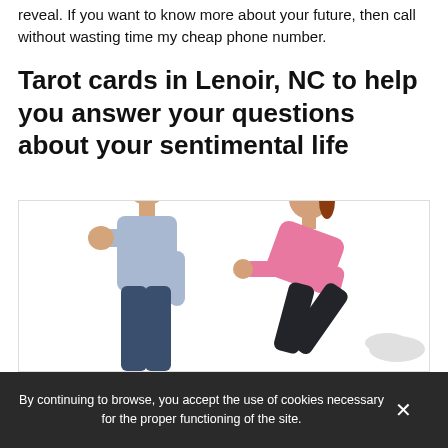reveal. If you want to know more about your future, then call without wasting time my cheap phone number.
Tarot cards in Lenoir, NC to help you answer your questions about your sentimental life
[Figure (photo): A man in a light blue shirt holding his hand out (stop gesture) toward a woman in a pink top who is leaning forward toward him, both figures on a white background.]
By continuing to browse, you accept the use of cookies necessary for the proper functioning of the site.